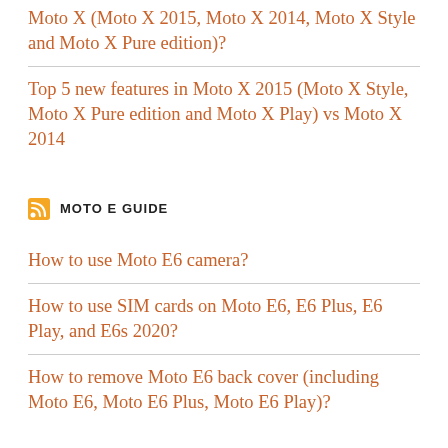Moto X (Moto X 2015, Moto X 2014, Moto X Style and Moto X Pure edition)?
Top 5 new features in Moto X 2015 (Moto X Style, Moto X Pure edition and Moto X Play) vs Moto X 2014
MOTO E GUIDE
How to use Moto E6 camera?
How to use SIM cards on Moto E6, E6 Plus, E6 Play, and E6s 2020?
How to remove Moto E6 back cover (including Moto E6, Moto E6 Plus, Moto E6 Play)?
MOTO E 2020 FOR KIDS GUIDE